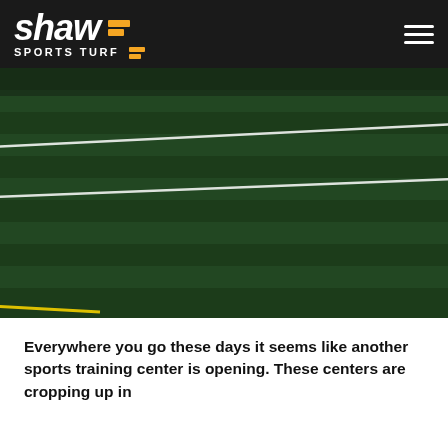[Figure (logo): Shaw Sports Turf logo in white text with orange S-shaped icon, on dark background, with hamburger menu icon on right]
[Figure (photo): Aerial/ground-level photo of artificial sports turf field showing green synthetic grass with white field lines and a yellow line in the lower left corner]
Everywhere you go these days it seems like another sports training center is opening. These centers are cropping up in